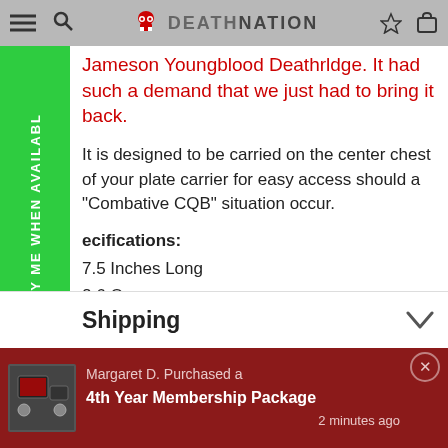DEATHRIDGE NATION
Jameson Youngblood Deathrldge. It had such a demand that we just had to bring it back.
It is designed to be carried on the center chest of your plate carrier for easy access should a "Combative CQB" situation occur.
ecifications:
7.5 Inches Long
2.6 Ounces
60-61 Aircraft Grade Aluminum
Blood Groove
Anodized in Red & Black
Shipping
Margaret D. Purchased a 4th Year Membership Package  2 minutes ago